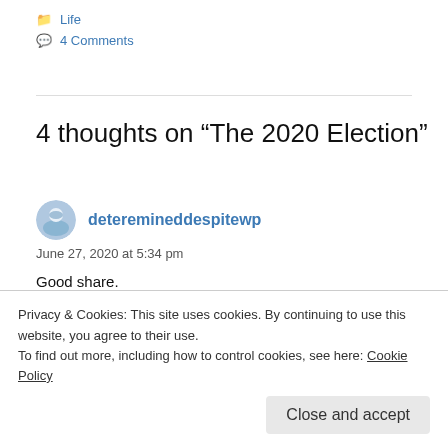Life
4 Comments
4 thoughts on “The 2020 Election”
detereminaddespitewp
June 27, 2020 at 5:34 pm
Good share.
I have this unhappy feeling that whosoever wins this
Privacy & Cookies: This site uses cookies. By continuing to use this website, you agree to their use.
To find out more, including how to control cookies, see here: Cookie Policy